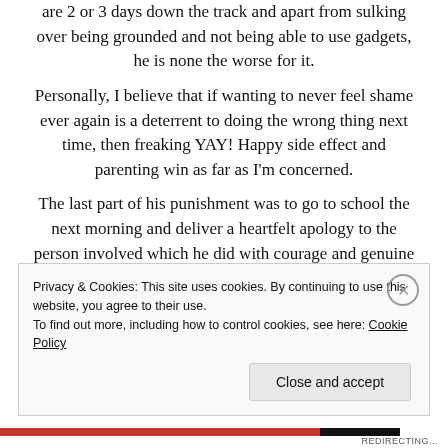are 2 or 3 days down the track and apart from sulking over being grounded and not being able to use gadgets, he is none the worse for it.
Personally, I believe that if wanting to never feel shame ever again is a deterrent to doing the wrong thing next time, then freaking YAY! Happy side effect and parenting win as far as I'm concerned.
The last part of his punishment was to go to school the next morning and deliver a heartfelt apology to the person involved which he did with courage and genuine remorse. He is generally a kid who we never have issues with. This was totally out of character and I am fairly
Privacy & Cookies: This site uses cookies. By continuing to use this website, you agree to their use.
To find out more, including how to control cookies, see here: Cookie Policy
Close and accept